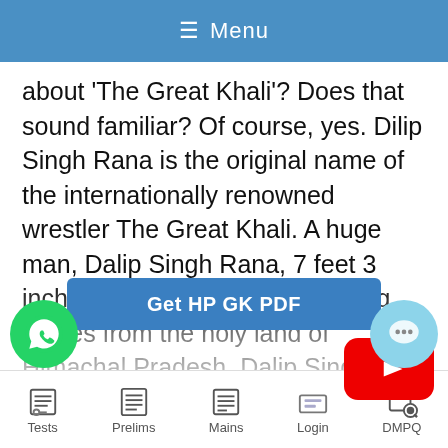≡ Menu
about 'The Great Khali'? Does that sound familiar? Of course, yes. Dilip Singh Rana is the original name of the internationally renowned wrestler The Great Khali. A huge man, Dalip Singh Rana, 7 feet 3 inches tall weighing about 196 kg comes from the holy land of Himachal Pradesh. Dalip Singh Rana alias Great Khali was born in a poor family in a very small village of Sirmaur district. It is said that till his initial teens his growth was normal, but suddenly it took a rapid edge and he grew like anything. As the family was poor and …n to make both ends meet, moreover Dilip's…
[Figure (logo): YouTube play button red logo overlay]
[Figure (logo): WhatsApp green phone icon]
[Figure (logo): Chat bubble icon]
Get HP GK PDF
Tests   Prelims   Mains   Login   DMPQ